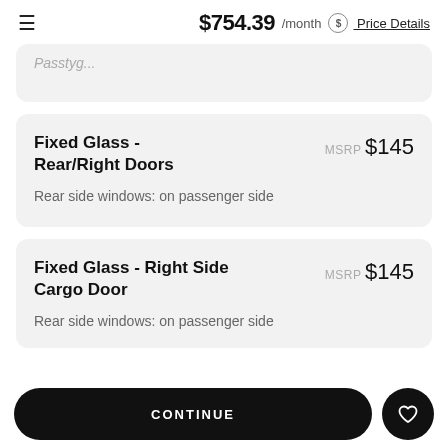$754.39 /month Price Details
Fixed Glass - Rear/Right Doors
MSRP $145
Rear side windows: on passenger side
Fixed Glass - Right Side Cargo Door
MSRP $145
Rear side windows: on passenger side
CONTINUE